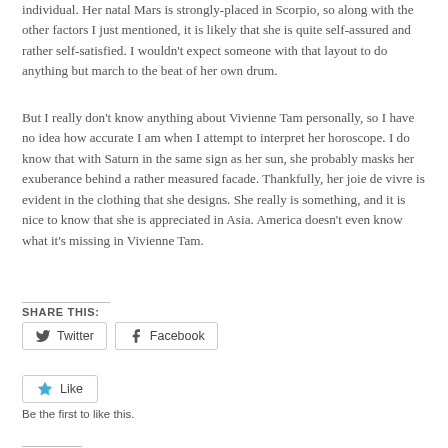individual. Her natal Mars is strongly-placed in Scorpio, so along with the other factors I just mentioned, it is likely that she is quite self-assured and rather self-satisfied. I wouldn't expect someone with that layout to do anything but march to the beat of her own drum.
But I really don't know anything about Vivienne Tam personally, so I have no idea how accurate I am when I attempt to interpret her horoscope. I do know that with Saturn in the same sign as her sun, she probably masks her exuberance behind a rather measured facade. Thankfully, her joie de vivre is evident in the clothing that she designs. She really is something, and it is nice to know that she is appreciated in Asia. America doesn't even know what it's missing in Vivienne Tam.
SHARE THIS:
[Figure (other): Twitter and Facebook share buttons]
[Figure (other): Like button with star icon]
Be the first to like this.